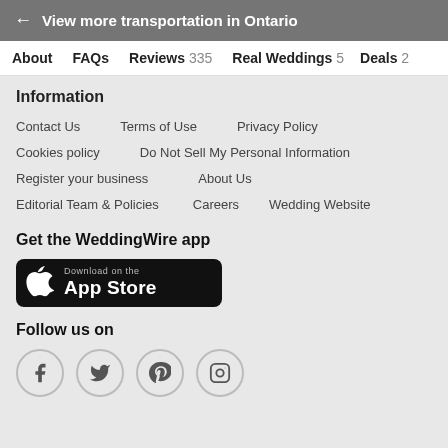← View more transportation in Ontario
About   FAQs   Reviews 335   Real Weddings 5   Deals 2
Information
Contact Us
Terms of Use
Privacy Policy
Cookies policy
Do Not Sell My Personal Information
Register your business
About Us
Editorial Team & Policies
Careers
Wedding Website
Get the WeddingWire app
[Figure (logo): Download on the App Store button — black rounded rectangle with Apple logo and text 'Download on the App Store']
Follow us on
[Figure (infographic): Four social media icons in circles: Facebook, Twitter, Pinterest, Instagram]